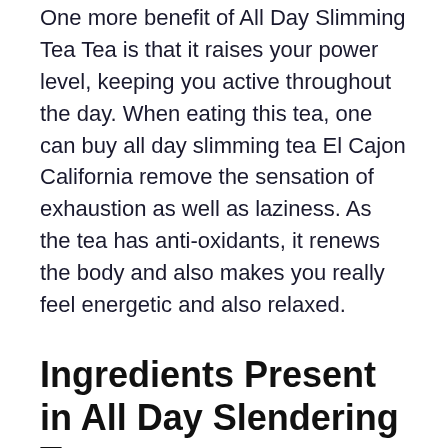One more benefit of All Day Slimming Tea Tea is that it raises your power level, keeping you active throughout the day. When eating this tea, one can buy all day slimming tea El Cajon California remove the sensation of exhaustion as well as laziness. As the tea has anti-oxidants, it renews the body and also makes you really feel energetic and also relaxed.
Ingredients Present in All Day Slendering Tea
Active ingredients made use of in All Day Slimming Tea are shown to be efficient in weight reduction. The following are the components existing in the formula.